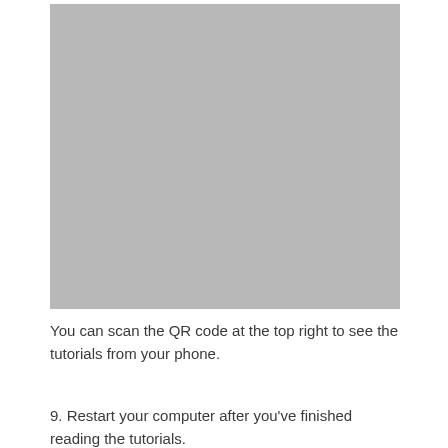[Figure (other): A large grey placeholder image occupying the upper portion of the page, likely representing a screenshot or tutorial image.]
You can scan the QR code at the top right to see the tutorials from your phone.
9. Restart your computer after you've finished reading the tutorials.